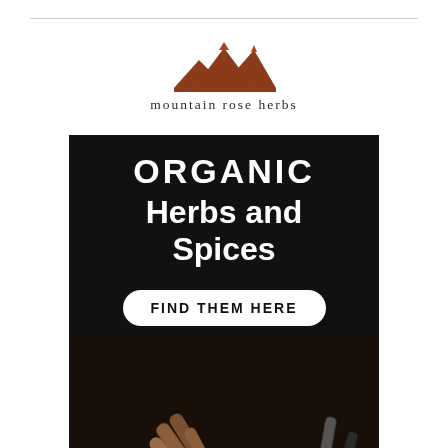[Figure (logo): Mountain Rose Herbs logo with mountain peak icon and brand name text]
[Figure (infographic): Advertisement banner for Mountain Rose Herbs Organic Herbs and Spices with dark background, white text reading ORGANIC Herbs and Spices, a white rounded button saying FIND THEM HERE, and a photo of cinnamon sticks, ground spice and measuring spoons on dark background]